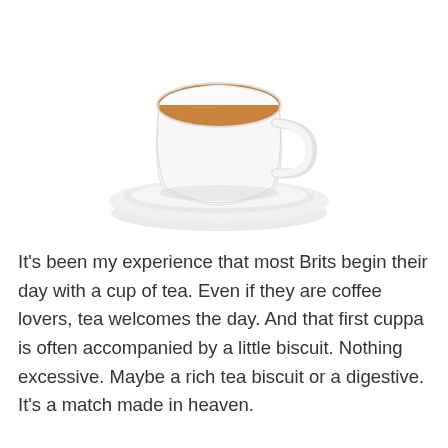[Figure (photo): A white ceramic tea cup filled with amber tea, sitting on a white saucer, photographed on a white background with a subtle shadow beneath the saucer.]
It's been my experience that most Brits begin their day with a cup of tea. Even if they are coffee lovers, tea welcomes the day. And that first cuppa is often accompanied by a little biscuit. Nothing excessive. Maybe a rich tea biscuit or a digestive. It's a match made in heaven.